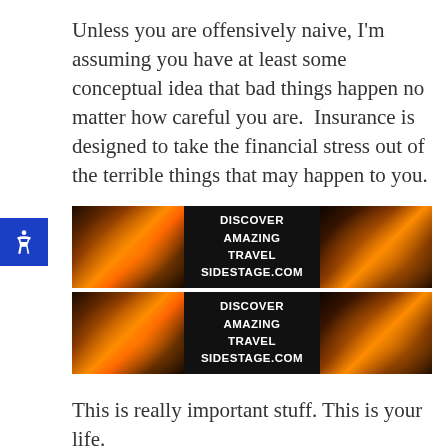Unless you are offensively naive, I'm assuming you have at least some conceptual idea that bad things happen no matter how careful you are.  Insurance is designed to take the financial stress out of the terrible things that may happen to you.
[Figure (other): Advertisement banner for DISCOVER AMAZING TRAVEL SIDESTAGE.COM, shown twice (top and bottom rows), each with sunset/landscape images on left and right and centered text on dark background]
This is really important stuff. This is your life.
Sticking your head in the sand and hoping